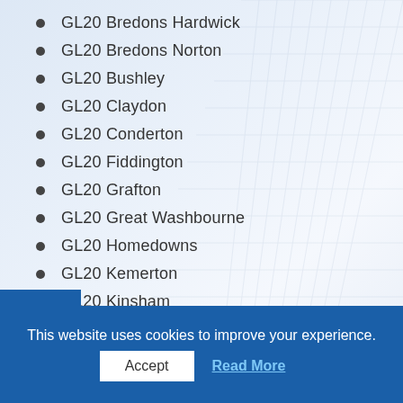GL20 Bredons Hardwick
GL20 Bredons Norton
GL20 Bushley
GL20 Claydon
GL20 Conderton
GL20 Fiddington
GL20 Grafton
GL20 Great Washbourne
GL20 Homedowns
GL20 Kemerton
GL20 Kinsham
This website uses cookies to improve your experience.
Accept
Read More